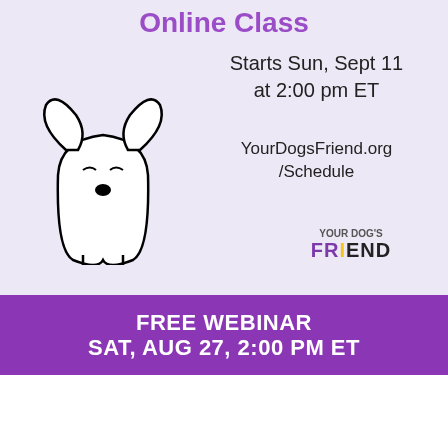Online Class
Starts Sun, Sept 11 at 2:00 pm ET
YourDogsFriend.org/Schedule
[Figure (illustration): Simple line drawing of a cartoon dog with closed eyes and a black nose on a light purple background. A 'Your Dog's Friend' logo appears in the lower right.]
FREE WEBINAR SAT, AUG 27, 2:00 PM ET
Nowhere to Go
Leash-Reactive Dogs